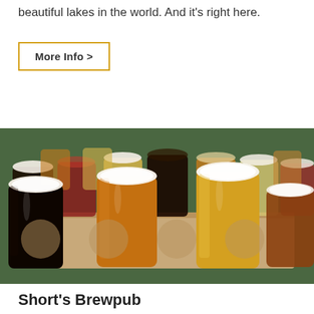beautiful lakes in the world. And it's right here.
More Info >
[Figure (photo): A tray of multiple beer flight glasses with various beer colors ranging from dark stout to golden lager to amber ale, arranged on a wooden serving board on a green surface.]
Short's Brewpub